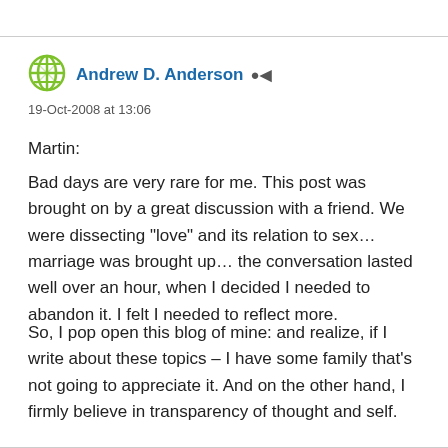[Figure (logo): Green globe/network icon used as author avatar]
Andrew D. Anderson  ▮
19-Oct-2008 at 13:06
Martin:
Bad days are very rare for me. This post was brought on by a great discussion with a friend. We were dissecting “love” and its relation to sex… marriage was brought up… the conversation lasted well over an hour, when I decided I needed to abandon it. I felt I needed to reflect more.
So, I pop open this blog of mine: and realize, if I write about these topics – I have some family that’s not going to appreciate it. And on the other hand, I firmly believe in transparency of thought and self.